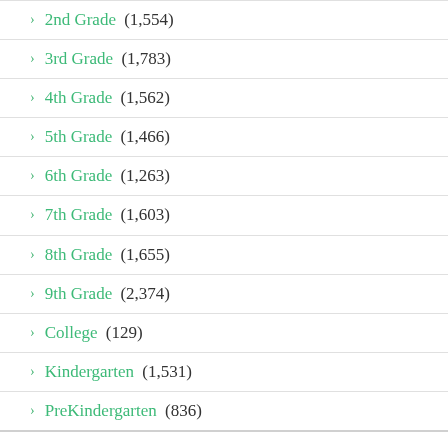2nd Grade (1,554)
3rd Grade (1,783)
4th Grade (1,562)
5th Grade (1,466)
6th Grade (1,263)
7th Grade (1,603)
8th Grade (1,655)
9th Grade (2,374)
College (129)
Kindergarten (1,531)
PreKindergarten (836)
HOLIDAYS (768)
100th Day (3)
4th of July (13)
Christmas (180)
Easter (63)
4th of July (72)